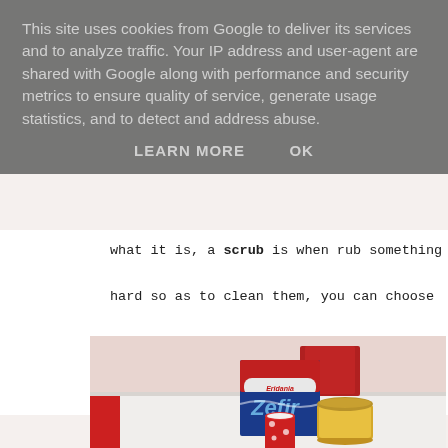This site uses cookies from Google to deliver its services and to analyze traffic. Your IP address and user-agent are shared with Google along with performance and security metrics to ensure quality of service, generate usage statistics, and to detect and address abuse.
LEARN MORE   OK
what it is, a scrub is when rub something hard so as to clean them, you can choose to use a brush or a specific product. What you need:
[Figure (photo): Photo of kitchen table with Eridania Zefiro sugar box, a jar of honey with gold lid, and a small red polka-dot paper cup, set against a light pink wall.]